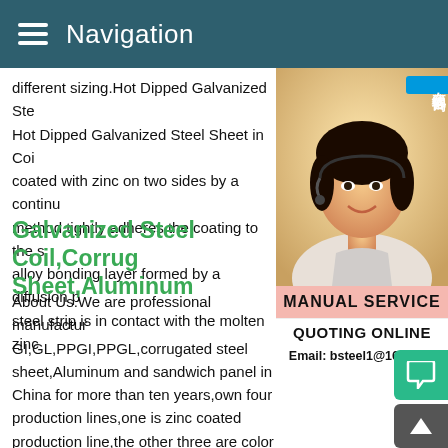Navigation
different sizing.Hot Dipped Galvanized Ste Hot Dipped Galvanized Steel Sheet in Coi coated with zinc on two sides by a continu method tightly adheres the coating to the s alloy bonding layer formed by a diffusion p steel strip is in contact with the molten zinc
[Figure (photo): Customer service representative wearing a headset, smiling, with online consultation badge in Chinese characters (在线咨询) and Manual Service banner below]
Galvanized Steel Coil,Corrug Sheet,Aluminum
About Us.We are professional manufactur GI,GL,PPGI,PPGL,corrugated steel sheet,Aluminum and sandwich panel in China for more than ten years,own four production lines,one is zinc coated production line,the other three are color coated production lines.GI/PPGI/PPCR - Tangshan Yuxuan International Trading Co Wire Rod,Hot Rolled Steel Coil,Galvanized Steel Coil manufacturer / supplier in China,off